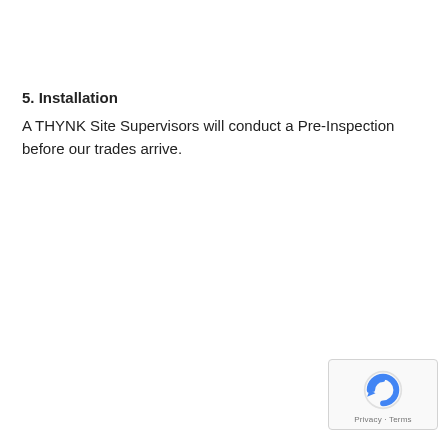5. Installation
A THYNK Site Supervisors will conduct a Pre-Inspection before our trades arrive.
[Figure (logo): Google reCAPTCHA badge with privacy and terms links]